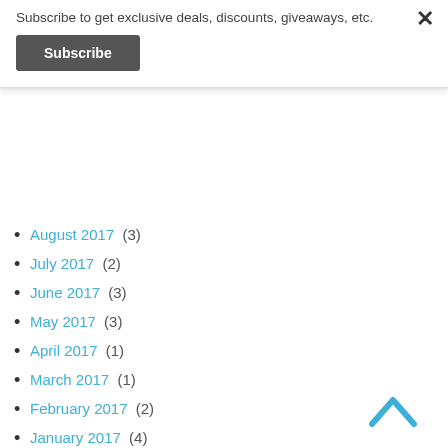Subscribe to get exclusive deals, discounts, giveaways, etc.
Subscribe
August 2017 (3)
July 2017 (2)
June 2017 (3)
May 2017 (3)
April 2017 (1)
March 2017 (1)
February 2017 (2)
January 2017 (4)
December 2016 (2)
November 2016 (5)